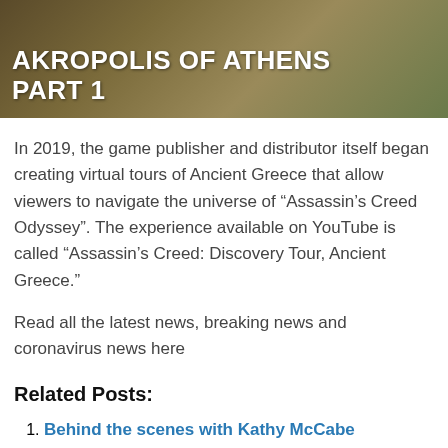[Figure (photo): Banner image of the Akropolis of Athens with overlaid white bold text reading 'AKROPOLIS OF ATHENS PART 1']
In 2019, the game publisher and distributor itself began creating virtual tours of Ancient Greece that allow viewers to navigate the universe of “Assassin’s Creed Odyssey”. The experience available on YouTube is called “Assassin’s Creed: Discovery Tour, Ancient Greece.”
Read all the latest news, breaking news and coronavirus news here
Related Posts:
Behind the scenes with Kathy McCabe
Wine Notes from BC: Giovane Bacaro opens, dines